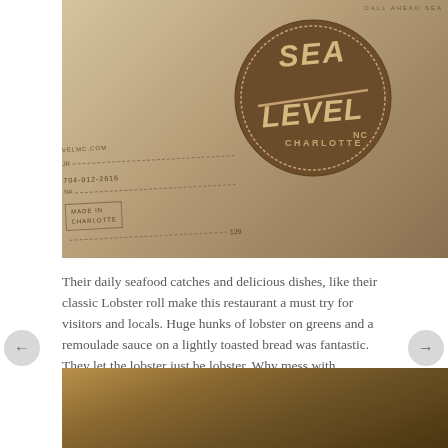[Figure (photo): Photo of Sea Level Charlotte NC restaurant menu/receipt with the Sea Level logo (brown circle with distressed text) visible. Text 'CALL AHEAD SEA' partially visible top right. Receipt shows phone number 704-912-2616, 'MADE IN CHARLOTTE', and number 129.]
Their daily seafood catches and delicious dishes, like their classic Lobster roll make this restaurant a must try for visitors and locals. Huge hunks of lobster on greens and a remoulade sauce on a lightly toasted bread was fantastic. They let the lobster just be lobster. Why mess with perfection?!
[Figure (photo): Close-up photo of food — appears to be lobster roll or seafood dish on bread, brown and golden tones.]